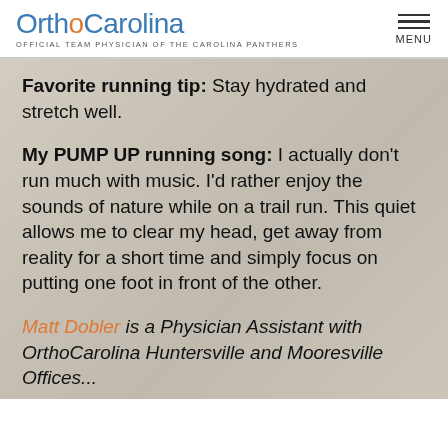OrthoCarolina — OFFICIAL TEAM PHYSICIAN OF THE CAROLINA PANTHERS — MENU
Favorite running tip: Stay hydrated and stretch well.
My PUMP UP running song: I actually don't run much with music.  I'd rather enjoy the sounds of nature while on a trail run.  This quiet allows me to clear my head, get away from reality for a short time and simply focus on putting one foot in front of the other.
Matt Dobler is a Physician Assistant  with OrthoCarolina Huntersville and Mooresville Offices...